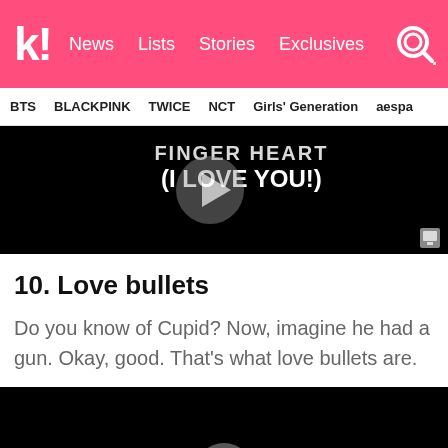k! News  Lists  Stories  Exclusives
BTS  BLACKPINK  TWICE  NCT  Girls' Generation  aespa
[Figure (screenshot): Video player with black background showing text 'FINGER HEART (I LOVE YOU!)' and a play button]
10. Love bullets
Do you know of Cupid? Now, imagine he had a gun. Okay, good. That's what love bullets are.
[Figure (screenshot): Video player with black background, partially visible with a play button at the bottom]